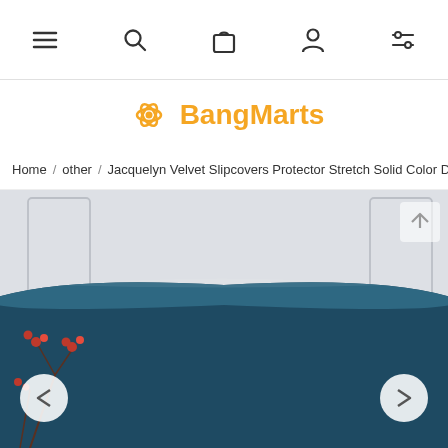[Figure (screenshot): Mobile e-commerce navigation bar with hamburger menu, search, cart, account, and filter icons]
[Figure (logo): BangMarts logo with orange bear/React icon and orange bold text]
Home / other / Jacquelyn Velvet Slipcovers Protector Stretch Solid Color Dus
[Figure (photo): Product photo showing a teal/navy blue velvet headboard slipcover on a bed headboard, with decorative red berry branches visible at bottom left, white wall paneling in background. Navigation arrows visible on left and right sides, and an up arrow on the right side of the image.]